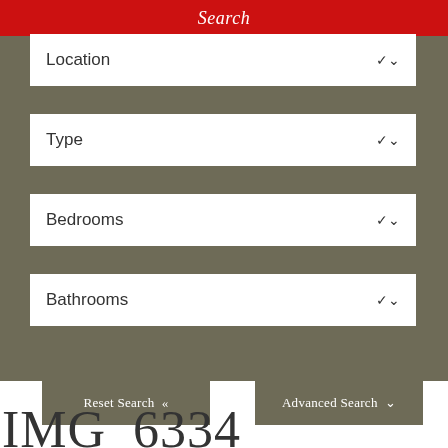Search
Location
Type
Bedrooms
Bathrooms
Reset Search «
Advanced Search ˅
IMG_6334